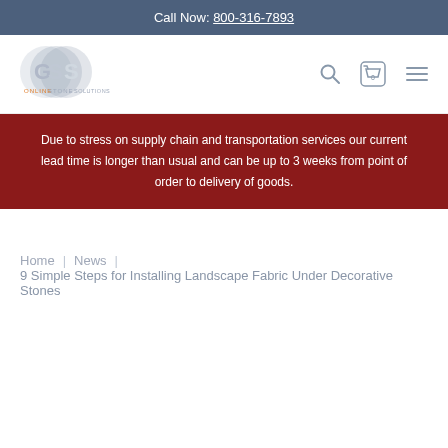Call Now: 800-316-7893
[Figure (logo): Online Stone Solutions GSS logo with circular GSS monogram and company name text]
Due to stress on supply chain and transportation services our current lead time is longer than usual and can be up to 3 weeks from point of order to delivery of goods.
Home | News | 9 Simple Steps for Installing Landscape Fabric Under Decorative Stones